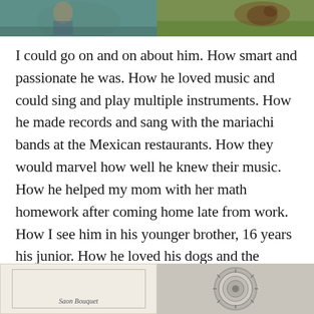[Figure (photo): Two photos side by side at the top: left shows a person with teal/water background, right shows a dog or animal outdoors on grass]
I could go on and on about him. How smart and passionate he was. How he loved music and could sing and play multiple instruments. How he made records and sang with the mariachi bands at the Mexican restaurants. How they would marvel how well he knew their music. How he helped my mom with her math homework after coming home late from work. How I see him in his younger brother, 16 years his junior. How he loved his dogs and the outdoors and to fish and hunt. How he stamped all of us in a unique way.
[Figure (photo): Two photos side by side at the bottom: left shows what appears to be a document or certificate with cursive text reading 'Saon Bouquet', right shows a circular dial or speaker of a vintage radio]